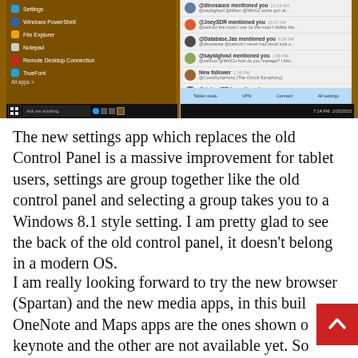[Figure (screenshot): Screenshot of a Windows 10 desktop showing the Start menu on the left with items including Settings, Windows PowerShell, File Explorer, Notepad, Remote Desktop Connection, and TrueFont; and a Twitter/social notifications panel on the right showing multiple mentions from @dinosauce, @JoeySDR, @Database.Jas, @sayidghoul, New follower, @richard77kt, @chrisoldovd; with a notification action bar at the bottom and Windows taskbar at the very bottom.]
The new settings app which replaces the old Control Panel is a massive improvement for tablet users, settings are group together like the old control panel and selecting a group takes you to a Windows 8.1 style setting. I am pretty glad to see the back of the old control panel, it doesn't belong in a modern OS.
I am really looking forward to try the new browser (Spartan) and the new media apps, in this build the OneNote and Maps apps are the ones shown during the keynote and the other are not available yet. So